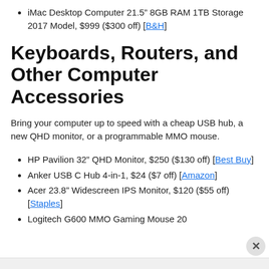iMac Desktop Computer 21.5" 8GB RAM 1TB Storage 2017 Model, $999 ($300 off) [B&H]
Keyboards, Routers, and Other Computer Accessories
Bring your computer up to speed with a cheap USB hub, a new QHD monitor, or a programmable MMO mouse.
HP Pavilion 32" QHD Monitor, $250 ($130 off) [Best Buy]
Anker USB C Hub 4-in-1, $24 ($7 off) [Amazon]
Acer 23.8" Widescreen IPS Monitor, $120 ($55 off) [Staples]
Logitech G600 MMO Gaming Mouse 20